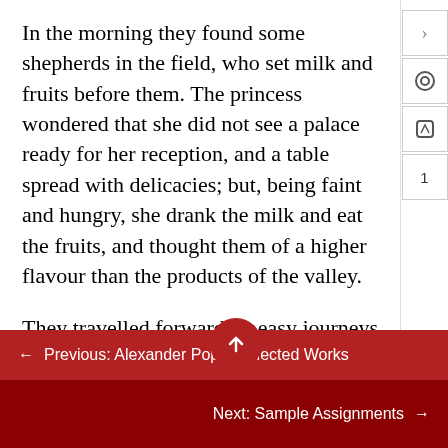In the morning they found some shepherds in the field, who set milk and fruits before them. The princess wondered that she did not see a palace ready for her reception, and a table spread with delicacies; but, being faint and hungry, she drank the milk and eat the fruits, and thought them of a higher flavour than the products of the valley.
They travelled forward by easy journeys, being all unaccustomed to toil or difficulty, and knowing, that though they might be missed, they could not be persued. In a few days they came into a more populous region, where Imlac was diverted the admiration which his companions expressed at the diversity of manners.
← Previous: Alexander Pope: Selected Works
Next: Sample Assignments →